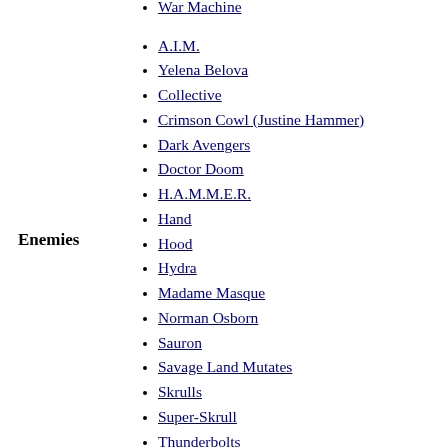Thing
War Machine
A.I.M.
Yelena Belova
Collective
Crimson Cowl (Justine Hammer)
Dark Avengers
Doctor Doom
H.A.M.M.E.R.
Hand
Hood
Hydra
Madame Masque
Norman Osborn
Sauron
Savage Land Mutates
Skrulls
Super-Skrull
Thunderbolts
U-Foes
Wrecker
Stark Tower
Sanctum Sanctorum
Enemies